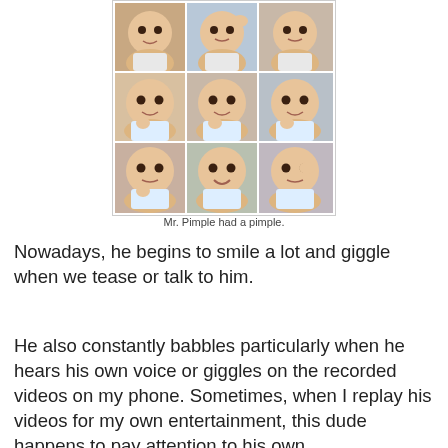[Figure (photo): 3x3 grid of 9 baby photos showing a chubby-cheeked infant in various expressions, with watermark 'mywanderingstory.com']
Mr. Pimple had a pimple.
Nowadays, he begins to smile a lot and giggle when we tease or talk to him.
He also constantly babbles particularly when he hears his own voice or giggles on the recorded videos on my phone. Sometimes, when I replay his videos for my own entertainment, this dude happens to pay attention to his own